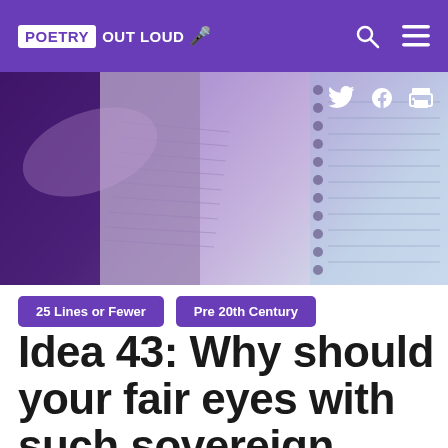POETRY OUT LOUD
[Figure (photo): A person's hand holding open a poetry or literature book, with another spiral notebook visible to the right. Purple-toned photo with soft lighting.]
25 Lines or Fewer
Pre 20th Century
Idea 43: Why should your fair eyes with such sovereign grace